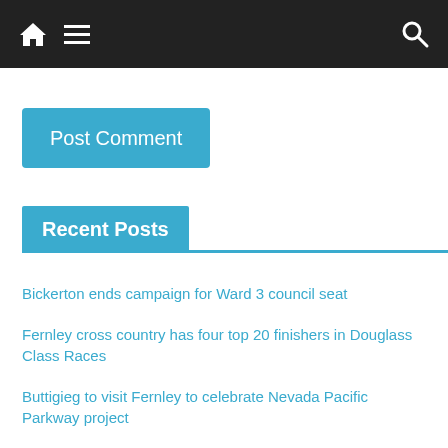Navigation bar with home, menu, and search icons
Post Comment
Recent Posts
Bickerton ends campaign for Ward 3 council seat
Fernley cross country has four top 20 finishers in Douglass Class Races
Buttigieg to visit Fernley to celebrate Nevada Pacific Parkway project
Person killed on officer-involved shooting following Aug. 4 chase identified as Winnemucca man
School Board to discuss Fernley bus policy Tuesday
(no title)